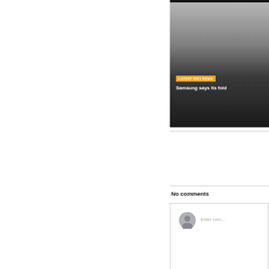[Figure (screenshot): News article card with gradient background (gray to dark), orange badge reading 'LATEST 2021 NEWS', and white bold text 'Samsung says its fold...']
No comments
[Figure (screenshot): Comment input box with user avatar icon and 'Enter com...' placeholder text]